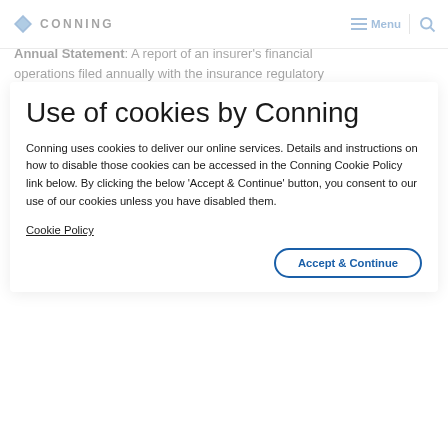CONNING — Menu | Search
Annual Statement: A report of an insurer's financial operations filed annually with the insurance regulatory authorities of each jurisdiction in which the insurer is
Use of cookies by Conning
Conning uses cookies to deliver our online services. Details and instructions on how to disable those cookies can be accessed in the Conning Cookie Policy link below. By clicking the below 'Accept & Continue' button, you consent to our use of our cookies unless you have disabled them.
Cookie Policy
Accept & Continue